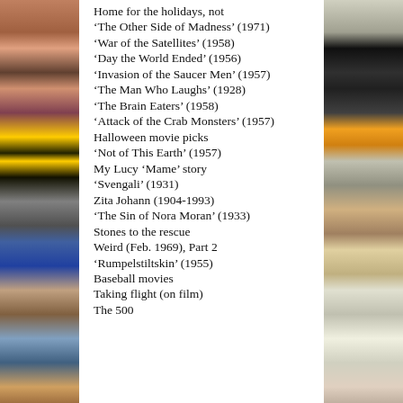Home for the holidays, not
'The Other Side of Madness' (1971)
'War of the Satellites' (1958)
'Day the World Ended' (1956)
'Invasion of the Saucer Men' (1957)
'The Man Who Laughs' (1928)
'The Brain Eaters' (1958)
'Attack of the Crab Monsters' (1957)
Halloween movie picks
'Not of This Earth' (1957)
My Lucy 'Mame' story
'Svengali' (1931)
Zita Johann (1904-1993)
'The Sin of Nora Moran' (1933)
Stones to the rescue
Weird (Feb. 1969), Part 2
'Rumpelstiltskin' (1955)
Baseball movies
Taking flight (on film)
The 500